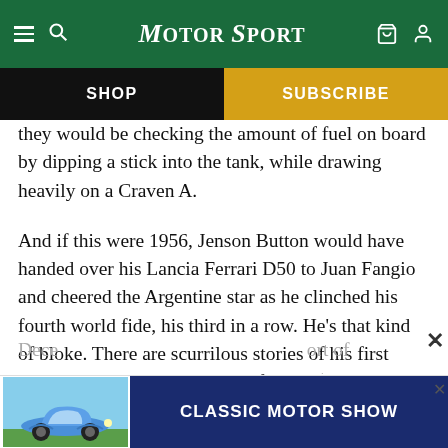MotorSport — SHOP | SUBSCRIBE
they would be checking the amount of fuel on board by dipping a stick into the tank, while drawing heavily on a Craven A.
And if this were 1956, Jenson Button would have handed over his Lancia Ferrari D50 to Juan Fangio and cheered the Argentine star as he clinched his fourth world fide, his third in a row. He’s that kind of bloke. There are scurrilous stories of his first year, as yet untold, that will definitely cause a chuckle when they are unearthed for our amusement in the Dece... ort of anec... s to
[Figure (screenshot): Classic Motor Show advertisement banner with a blue Porsche 911 car image on left and dark blue banner reading CLASSIC MOTOR SHOW]